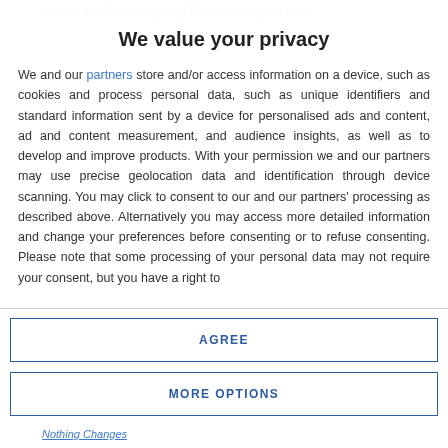Aarons or Meunier signing, Pulisic coming on loan
We value your privacy
We and our partners store and/or access information on a device, such as cookies and process personal data, such as unique identifiers and standard information sent by a device for personalised ads and content, ad and content measurement, and audience insights, as well as to develop and improve products. With your permission we and our partners may use precise geolocation data and identification through device scanning. You may click to consent to our and our partners' processing as described above. Alternatively you may access more detailed information and change your preferences before consenting or to refuse consenting. Please note that some processing of your personal data may not require your consent, but you have a right to
AGREE
MORE OPTIONS
Nothing Changes